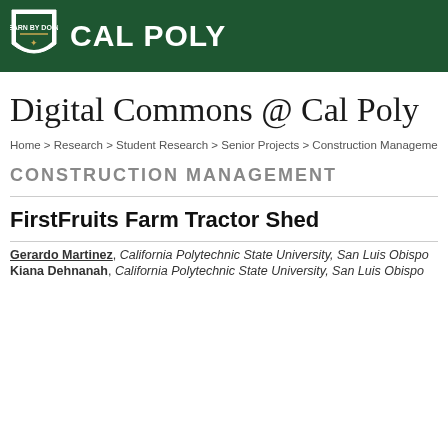[Figure (logo): Cal Poly logo with shield and white text on dark green background header bar]
Digital Commons @ Cal Poly
Home > Research > Student Research > Senior Projects > Construction Management > 55...
CONSTRUCTION MANAGEMENT
FirstFruits Farm Tractor Shed
Gerardo Martinez, California Polytechnic State University, San Luis Obispo
Kiana Dehnanah, California Polytechnic State University, San Luis Obispo